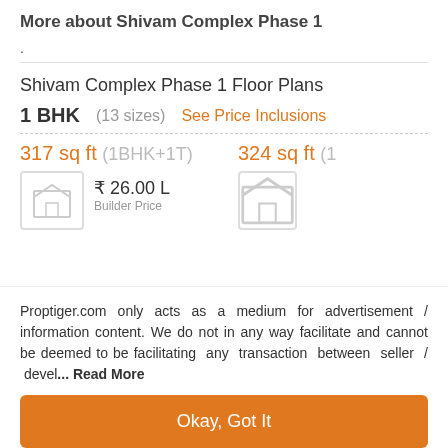More about Shivam Complex Phase 1
.
Shivam Complex Phase 1 Floor Plans
1 BHK (13 sizes) See Price Inclusions
317 sq ft (1BHK+1T)
₹ 26.00 L Builder Price
324 sq ft (1
Proptiger.com only acts as a medium for advertisement / information content. We do not in any way facilitate and cannot be deemed to be facilitating any transaction between seller / devel... Read More
Okay, Got It